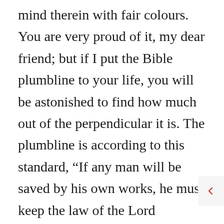mind therein with fair colours. You are very proud of it, my dear friend; but if I put the Bible plumbline to your life, you will be astonished to find how much out of the perpendicular it is. The plumbline is according to this standard, “If any man will be saved by his own works, he must keep the law of the Lord perfectly; for he, who is guilty of the breach of any one of God’s commandments, has broken the whole law: ‘therefore by the deeds of the law there shall no flesh be justified in his sight.’” That condemns your wall, does it not? – because you have not at all times